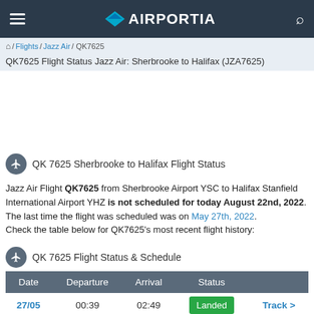AIRPORTIA
Home / Flights / Jazz Air / QK7625
QK7625 Flight Status Jazz Air: Sherbrooke to Halifax (JZA7625)
QK 7625 Sherbrooke to Halifax Flight Status
Jazz Air Flight QK7625 from Sherbrooke Airport YSC to Halifax Stanfield International Airport YHZ is not scheduled for today August 22nd, 2022. The last time the flight was scheduled was on May 27th, 2022. Check the table below for QK7625's most recent flight history:
QK 7625 Flight Status & Schedule
| Date | Departure | Arrival | Status |  |
| --- | --- | --- | --- | --- |
| 27/05 | 00:39 | 02:49 | Landed | Track > |